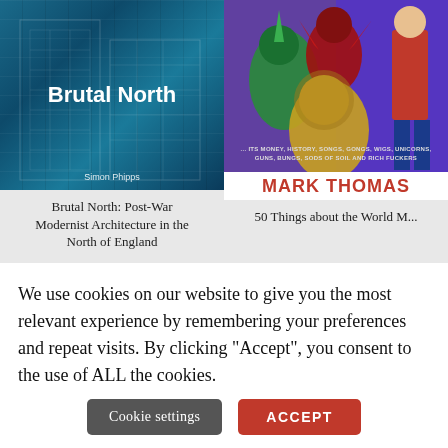[Figure (illustration): Book cover: 'Brutal North' by Simon Phipps — blue-tinted brutalist concrete building with white title text overlay]
Brutal North: Post-War Modernist Architecture in the North of England
[Figure (illustration): Book cover for Mark Thomas — comic-style illustration of fantastical creatures (unicorn, lion-dragon hybrid) in purple background with subtitle text and bold red author name]
50 Things about the World...
We use cookies on our website to give you the most relevant experience by remembering your preferences and repeat visits. By clicking “Accept”, you consent to the use of ALL the cookies.
Cookie settings
ACCEPT